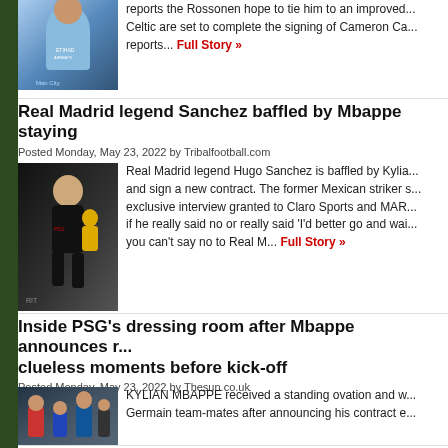[Figure (photo): Man City player in light blue jersey with Etihad Airways sponsor]
reports the Rossonen hope to tie him to an improved... Celtic are set to complete the signing of Cameron Ca... reports... Full Story »
Real Madrid legend Sanchez baffled by Mbappe staying
Posted Monday, May 23, 2022 by Tribalfootball.com
[Figure (photo): Kylian Mbappe in dark PSG kit running]
Real Madrid legend Hugo Sanchez is baffled by Kylia... and sign a new contract. The former Mexican striker s... exclusive interview granted to Claro Sports and MAR... if he really said no or really said 'I'd better go and wai... you can't say no to Real M... Full Story »
Inside PSG's dressing room after Mbappe announces r... clueless moments before kick-off
Posted Monday, May 23, 2022 by Thesun.co.uk
[Figure (photo): PSG dressing room scene with players and staff]
KYLIAN MBAPPE received a standing ovation and w... Germain team-mates after announcing his contract e... to his adoring fans before kick-off against Metz at the... Mbappe's team-mates were left stunned after his new... Instagram @psg He received a standing ovation ... F
Karim Benzema appears to label Mbappe a traitor follow
Posted Sunday, May 22, 2022 by 101 GREAT GOALS